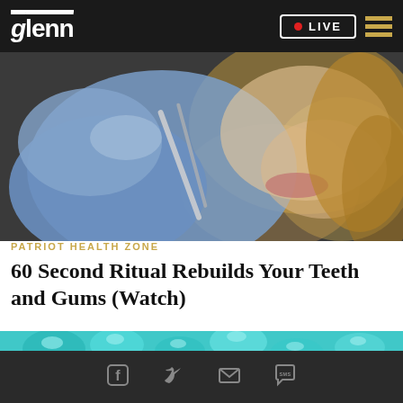glenn  LIVE
[Figure (photo): Close-up photo of a dental procedure, gloved hands using tools near a woman's mouth with blonde hair visible]
PATRIOT HEALTH ZONE
60 Second Ritual Rebuilds Your Teeth and Gums (Watch)
[Figure (photo): Close-up photo of teal/turquoise gel capsules or gummy supplements]
Facebook Twitter Email SMS